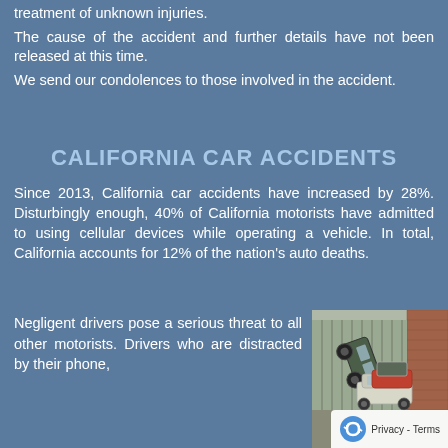treatment of unknown injuries.
The cause of the accident and further details have not been released at this time.
We send our condolences to those involved in the accident.
CALIFORNIA CAR ACCIDENTS
Since 2013, California car accidents have increased by 28%. Disturbingly enough, 40% of California motorists have admitted to using cellular devices while operating a vehicle. In total, California accounts for 12% of the nation's auto deaths.
Negligent drivers pose a serious threat to all other motorists. Drivers who are distracted by their phone,
[Figure (photo): Photo of multiple cars in an accident scene, one vehicle overturned on its side, other vehicles damaged, in a parking or yard area with metal fencing and brick building in background]
Privacy - Terms